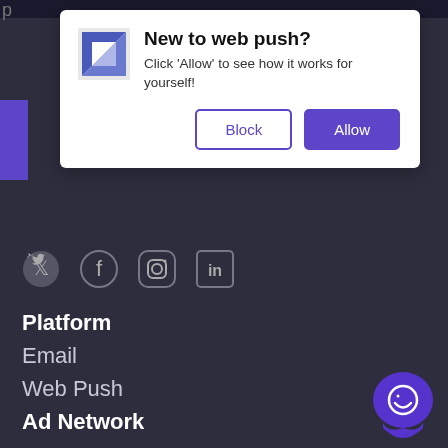[Figure (screenshot): Web push notification popup with logo, title 'New to web push?', description text, Block and Allow buttons]
[Figure (illustration): Social media icons row: Twitter, Facebook, Instagram, LinkedIn]
Platform
Email
Web Push
Ad Network
Advertisers
Monetize
Solutions
Affiliates
[Figure (logo): Purple chat bubble icon in bottom right corner]